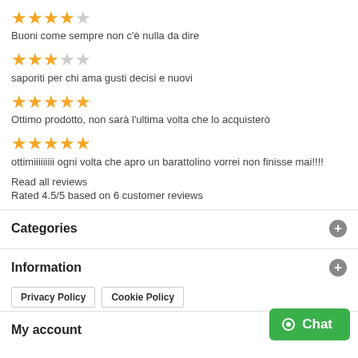★★★★☆ Buoni come sempre non c'è nulla da dire
★★★☆☆ saporiti per chi ama gusti decisi e nuovi
★★★★★ Ottimo prodotto, non sarà l'ultima volta che lo acquisterò
★★★★★ ottimiiiiiiiii ogni volta che apro un barattolino vorrei non finisse mai!!!!
Read all reviews
Rated 4.5/5 based on 6 customer reviews
Categories
Information
Privacy Policy   Cookie Policy
My account